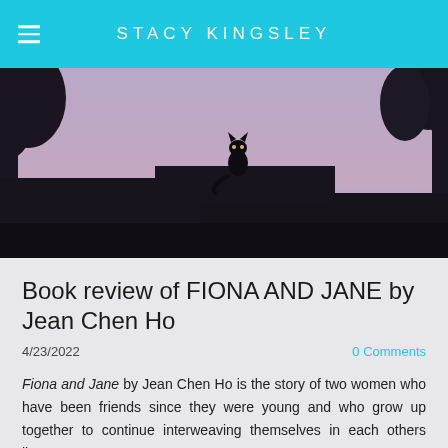STACY KINGSLEY
[Figure (photo): Silhouette of a cat sitting on a rooftop or wall ledge against a twilight purple-pink sky, with dark tree silhouettes on the sides]
Book review of FIONA AND JANE by Jean Chen Ho
4/23/2022   0 Comments
Fiona and Jane by Jean Chen Ho is the story of two women who have been friends since they were young and who grow up together to continue interweaving themselves in each others lives.